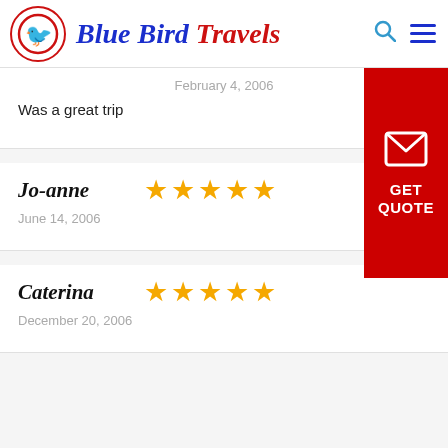Blue Bird Travels
February 4, 2006
Was a great trip
Jo-anne — 5 stars — June 14, 2006
Caterina — 5 stars — December 20, 2006